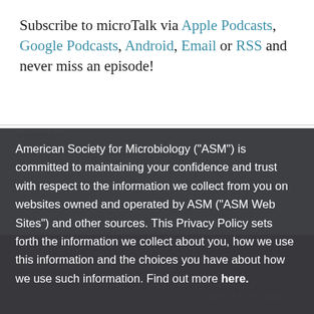Subscribe to microTalk via Apple Podcasts, Google Podcasts, Android, Email or RSS and never miss an episode!
PODCAST
APPLIED ENVIRONMENTAL SCIENCE
Register for ASM Conference on Next-Generation Sequencing
American Society for Microbiology ("ASM") is committed to maintaining your confidence and trust with respect to the information we collect from you on websites owned and operated by ASM ("ASM Web Sites") and other sources. This Privacy Policy sets forth the information we collect about you, how we use this information and the choices you have about how we use such information. Find out more here.
REGISTER NOW →